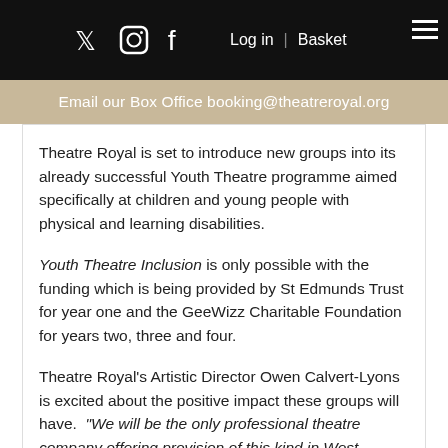Social icons (Twitter, Instagram, Facebook) | Log in | Basket | Menu
Email our Box Office booking@theatreroyal.org
Theatre Royal is set to introduce new groups into its already successful Youth Theatre programme aimed specifically at children and young people with physical and learning disabilities.
Youth Theatre Inclusion is only possible with the funding which is being provided by St Edmunds Trust for year one and the GeeWizz Charitable Foundation for years two, three and four.
Theatre Royal's Artistic Director Owen Calvert-Lyons is excited about the positive impact these groups will have. “We will be the only professional theatre company offering provision of this kind in West Suffolk. The new groups will enrich the lives of children and young people using theatre and performing arts techniques designed specifically